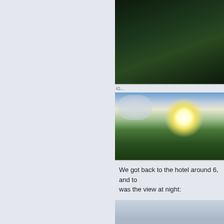[Figure (photo): Dark forest/vegetation photo at top right, clipped at top edge]
[Figure (photo): Outdoor landscape photo showing bright sun with glare over grassy vegetation, blue sky with clouds]
We got back to the hotel around 6, and to was the view at night:
[Figure (photo): Night or hazy daytime view of mountainous landscape, misty scene]